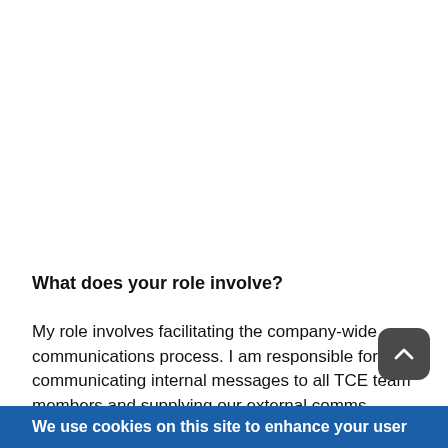What does your role involve?
My role involves facilitating the company-wide communications process. I am responsible for communicating internal messages to all TCE team members and supplying our external comms consultants, Conker Communications, with relevant
We use cookies on this site to enhance your user